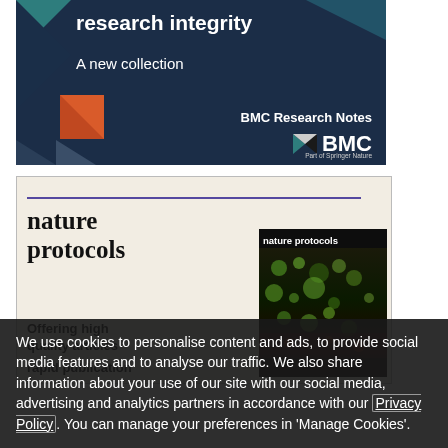[Figure (illustration): BMC Research Notes promotional banner with dark navy background, geometric shapes (teal, orange, dark blue triangles), text 'research integrity', 'A new collection', 'BMC Research Notes', and BMC logo]
[Figure (illustration): Nature Protocols journal advertisement showing journal title in serif font, purple horizontal line, and journal cover image showing 'nature protocols' text on dark background with biological imagery]
Offering high quality articles rapid publication
We use cookies to personalise content and ads, to provide social media features and to analyse our traffic. We also share information about your use of our site with our social media, advertising and analytics partners in accordance with our Privacy Policy. You can manage your preferences in 'Manage Cookies'.